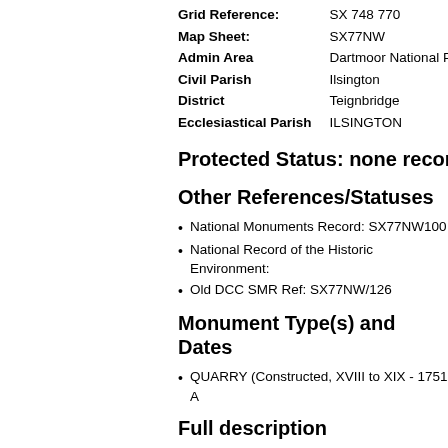| Field | Value |
| --- | --- |
| Grid Reference: | SX 748 770 |
| Map Sheet: | SX77NW |
| Admin Area | Dartmoor National Par |
| Civil Parish | Ilsington |
| District | Teignbridge |
| Ecclesiastical Parish | ILSINGTON |
Protected Status: none recorde
Other References/Statuses
National Monuments Record: SX77NW100
National Record of the Historic Environment:
Old DCC SMR Ref: SX77NW/126
Monument Type(s) and Dates
QUARRY (Constructed, XVIII to XIX - 1751 A
Full description
Adams, E. A., 1946, The Old Heytor Granite Railw
Small disused quarry near Emsworthy Newtake. It Quarry. Several granite setts still in position.
Ewans, M. C., 1977, The Haytor Granite Tramway
Thomas, D. St. J., 1981, A Regional History of Ra
Royal Commission on the Historical Monument Dartmoor Pre-NMP (Cartographic). SDV319854.